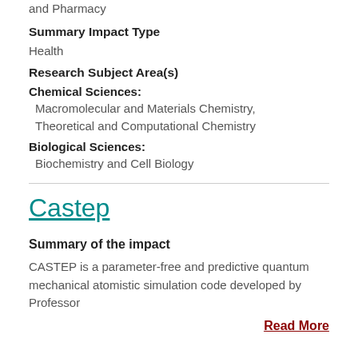and Pharmacy
Summary Impact Type
Health
Research Subject Area(s)
Chemical Sciences: Macromolecular and Materials Chemistry, Theoretical and Computational Chemistry
Biological Sciences: Biochemistry and Cell Biology
Castep
Summary of the impact
CASTEP is a parameter-free and predictive quantum mechanical atomistic simulation code developed by Professor
Read More